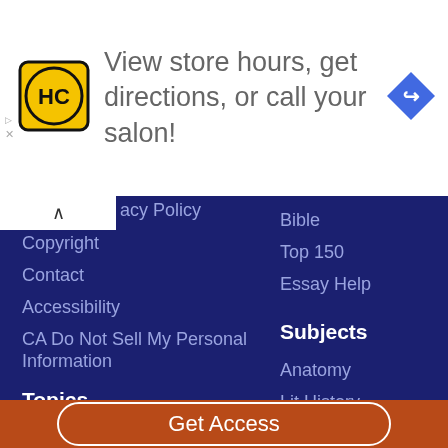[Figure (infographic): Advertisement banner: HC logo (yellow circle with HC letters), text 'View store hours, get directions, or call your salon!', blue diamond navigation icon on right. Small play and close buttons on left edge.]
acy Policy
Bible
Copyright
Top 150
Contact
Essay Help
Accessibility
CA Do Not Sell My Personal Information
Subjects
Topics
Anatomy
Lit History
Shakespeare
Poetry
Get Access